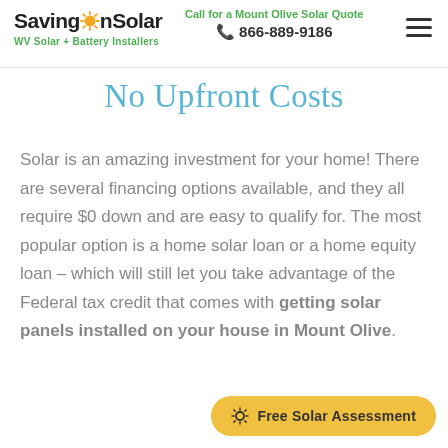SavingOnSolar — Call for a Mount Olive Solar Quote — 866-889-9186 — WV Solar + Battery Installers
No Upfront Costs
Solar is an amazing investment for your home! There are several financing options available, and they all require $0 down and are easy to qualify for. The most popular option is a home solar loan or a home equity loan – which will still let you take advantage of the Federal tax credit that comes with getting solar panels installed on your house in Mount Olive.
Free Solar Assessment